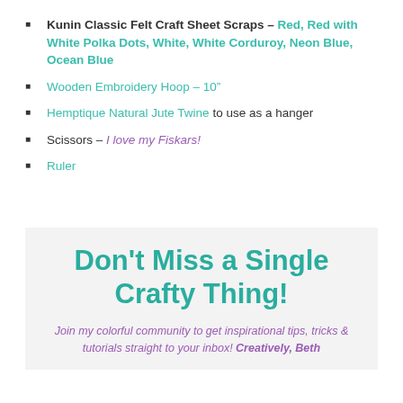Kunin Classic Felt Craft Sheet Scraps – Red, Red with White Polka Dots, White, White Corduroy, Neon Blue, Ocean Blue
Wooden Embroidery Hoop – 10"
Hemptique Natural Jute Twine to use as a hanger
Scissors – I love my Fiskars!
Ruler
Don't Miss a Single Crafty Thing!
Join my colorful community to get inspirational tips, tricks & tutorials straight to your inbox! Creatively, Beth